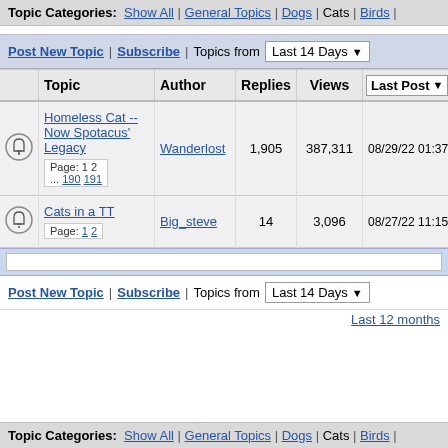Topic Categories: Show All | General Topics | Dogs | Cats | Birds |
Post New Topic | Subscribe | Topics from Last 14 Days
|  | Topic | Author | Replies | Views | Last Post |
| --- | --- | --- | --- | --- | --- |
| [bell] | Homeless Cat -- Now Spotacus' Legacy Page: 1 2 ... 190 191 | Wanderlost | 1,905 | 387,311 | 08/29/22 01:37pm |
| [bell] | Cats in a TT Page: 1 2 | Big_steve | 14 | 3,096 | 08/27/22 11:15am |
Post New Topic | Subscribe | Topics from Last 14 Days
Last 12 months
Topic Categories: Show All | General Topics | Dogs | Cats | Birds |